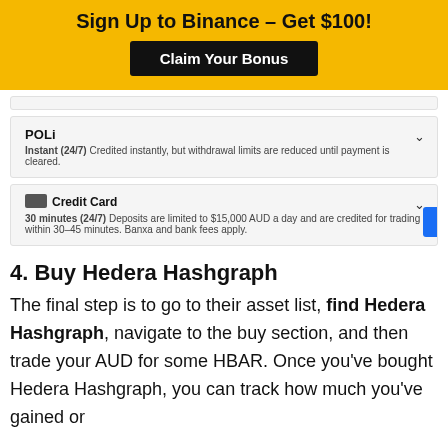Sign Up to Binance – Get $100!
Claim Your Bonus
POLi
Instant (24/7) Credited instantly, but withdrawal limits are reduced until payment is cleared.
Credit Card
30 minutes (24/7) Deposits are limited to $15,000 AUD a day and are credited for trading within 30–45 minutes. Banxa and bank fees apply.
4. Buy Hedera Hashgraph
The final step is to go to their asset list, find Hedera Hashgraph, navigate to the buy section, and then trade your AUD for some HBAR. Once you've bought Hedera Hashgraph, you can track how much you've gained or